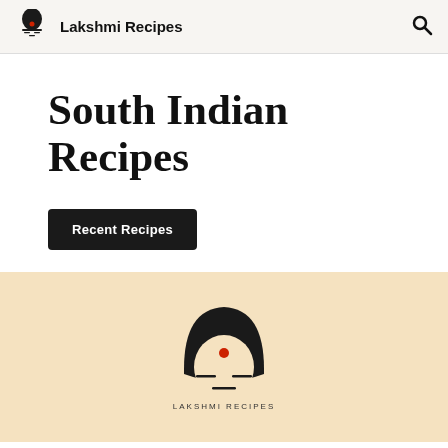Lakshmi Recipes
South Indian Recipes
Recent Recipes
[Figure (logo): Lakshmi Recipes logo: stylized black silhouette of a face with a red dot bindi, decorative lines, on a peach/cream background with 'LAKSHMI RECIPES' text below]